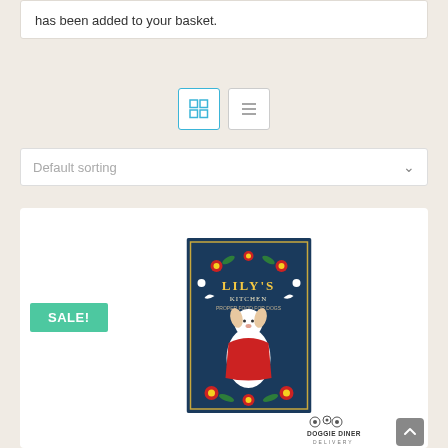has been added to your basket.
[Figure (screenshot): View toggle buttons: grid view (active, blue border) and list view]
[Figure (screenshot): Default sorting dropdown selector]
[Figure (illustration): Lily's Kitchen dog food product with SALE! badge on a white circular background]
[Figure (logo): Doggie Diner Delivery logo at bottom right]